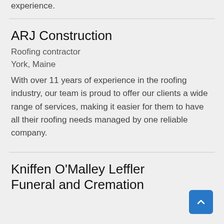experience.
ARJ Construction
Roofing contractor
York, Maine
With over 11 years of experience in the roofing industry, our team is proud to offer our clients a wide range of services, making it easier for them to have all their roofing needs managed by one reliable company.
Kniffen O'Malley Leffler Funeral and Cremation